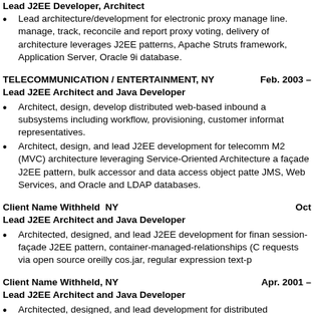Lead J2EE Developer, Architect
Lead architecture/development for electronic proxy manage line. manage, track, reconcile and report proxy voting, delivery of architecture leverages J2EE patterns, Apache Struts framework, Application Server, Oracle 9i database.
TELECOMMUNICATION / ENTERTAINMENT, NY    Feb. 2003 –
Lead J2EE Architect and Java Developer
Architect, design, develop distributed web-based inbound a subsystems including workflow, provisioning, customer informat representatives.
Architect, design, and lead J2EE development for telecomm M2 (MVC) architecture leveraging Service-Oriented Architecture a façade J2EE pattern, bulk accessor and data access object patte JMS, Web Services, and Oracle and LDAP databases.
Client Name Withheld  NY                                      Oct
Lead J2EE Architect and Java Developer
Architected, designed, and lead J2EE development for finan session-façade J2EE pattern, container-managed-relationships (C requests via open source oreilly cos.jar, regular expression text-p
Client Name Withheld, NY                                      Apr. 2001 –
Lead J2EE Architect and Java Developer
Architected, designed, and lead development for distributed Infrastructure consists of multiple BEA WebLogic Application Ser stores including Sybase and SQL Server databases.  EJB tier dev